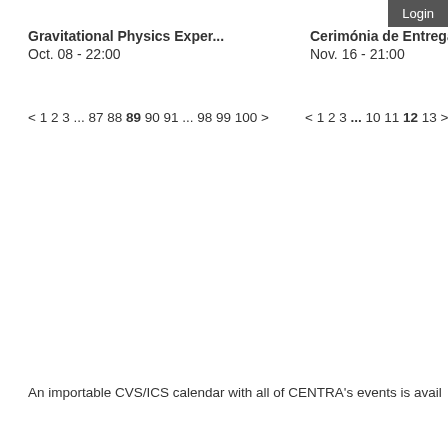Login
Gravitational Physics Exper...
Oct. 08 - 22:00
Cerimónia de Entrega do Pr...
Nov. 16 - 21:00
< 1 2 3 ... 87 88 89 90 91 ... 98 99 100 >
< 1 2 3 ... 10 11 12 13 >
An importable CVS/ICS calendar with all of CENTRA's events is avail